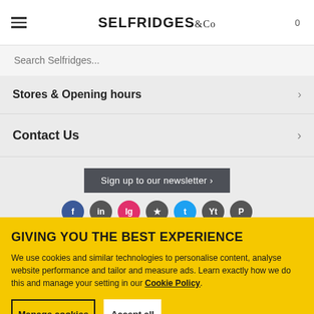SELFRIDGES & CO
Search Selfridges...
Stores & Opening hours
Contact Us
Sign up to our newsletter ›
GIVING YOU THE BEST EXPERIENCE
We use cookies and similar technologies to personalise content, analyse website performance and tailor and measure ads. Learn exactly how we do this and manage your setting in our Cookie Policy.
Manage cookies
Accept all